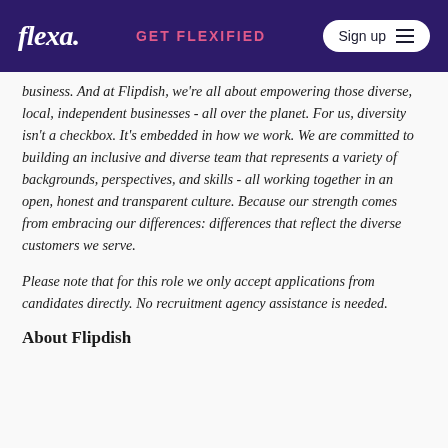flexa. | Get flexified | Sign up
business. And at Flipdish, we're all about empowering those diverse, local, independent businesses - all over the planet. For us, diversity isn't a checkbox. It's embedded in how we work. We are committed to building an inclusive and diverse team that represents a variety of backgrounds, perspectives, and skills - all working together in an open, honest and transparent culture. Because our strength comes from embracing our differences: differences that reflect the diverse customers we serve.
Please note that for this role we only accept applications from candidates directly. No recruitment agency assistance is needed.
About Flipdish